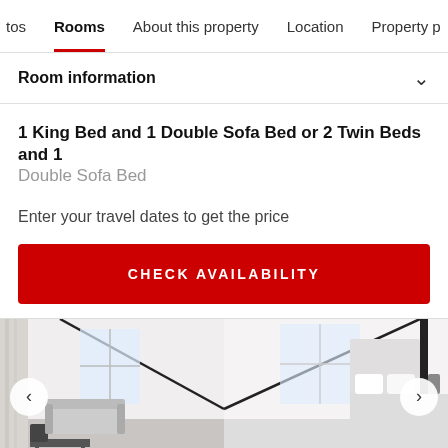tos   Rooms   About this property   Location   Property p
Room information
1 King Bed and 1 Double Sofa Bed or 2 Twin Beds and 1 Double Sofa Bed
Enter your travel dates to get the price
CHECK AVAILABILITY
[Figure (photo): Hotel room photo showing a modern white bedroom interior with black frame details, white walls, white bedding, and a window. Navigation arrows on left and right sides.]